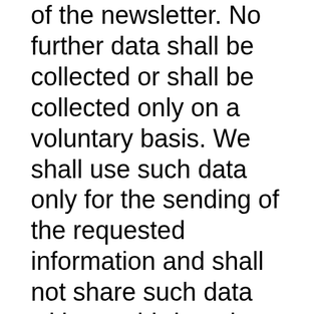of the newsletter. No further data shall be collected or shall be collected only on a voluntary basis. We shall use such data only for the sending of the requested information and shall not share such data with any third parties.
The processing of the information entered into the newsletter subscription form shall occur exclusively on the basis of your consent (Art. 6 Sect. 1 lit. a GDPR). You may revoke the consent you have given at any time.